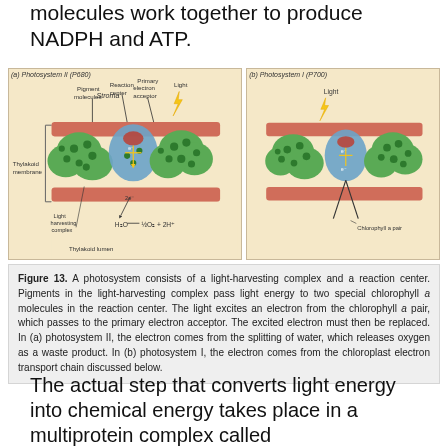molecules work together to produce NADPH and ATP.
[Figure (illustration): Two-panel diagram of photosystems. (a) Photosystem II (P680) showing thylakoid membrane with pigment molecules, reaction center, primary electron acceptor, light-harvesting complex, stroma, thylakoid lumen, and water-splitting reaction (H2O → ½O2 + 2H+). (b) Photosystem I (P700) showing light input and chlorophyll a pair with electron transport arrows.]
Figure 13. A photosystem consists of a light-harvesting complex and a reaction center. Pigments in the light-harvesting complex pass light energy to two special chlorophyll a molecules in the reaction center. The light excites an electron from the chlorophyll a pair, which passes to the primary electron acceptor. The excited electron must then be replaced. In (a) photosystem II, the electron comes from the splitting of water, which releases oxygen as a waste product. In (b) photosystem I, the electron comes from the chloroplast electron transport chain discussed below.
The actual step that converts light energy into chemical energy takes place in a multiprotein complex called